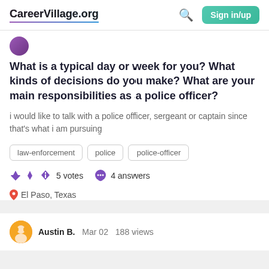CareerVillage.org  Sign in/up
What is a typical day or week for you? What kinds of decisions do you make? What are your main responsibilities as a police officer?
i would like to talk with a police officer, sergeant or captain since that's what i am pursuing
law-enforcement
police
police-officer
5 votes   4 answers
El Paso, Texas
Austin B.   Mar 02   188 views